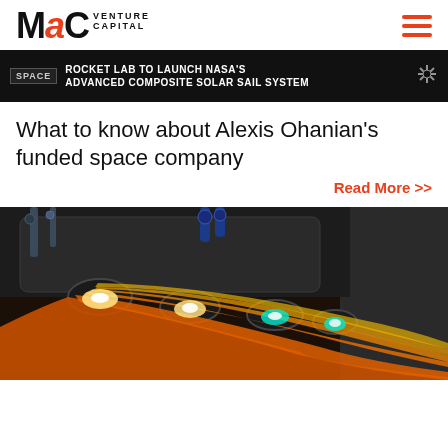MaC VENTURE CAPITAL
[Figure (screenshot): CNBC news banner showing headline: ROCKET LAB TO LAUNCH NASA'S ADVANCED COMPOSITE SOLAR SAIL SYSTEM]
What to know about Alexis Ohanian's funded space company
Read More >>
[Figure (photo): Photo of rocket engine firing with bright orange and yellow exhaust flames and glowing nozzles against dark industrial background]